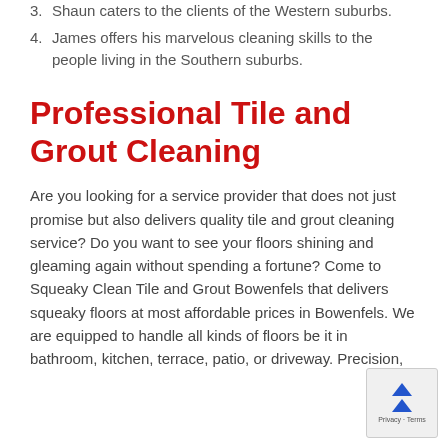3. Shaun caters to the clients of the Western suburbs.
4. James offers his marvelous cleaning skills to the people living in the Southern suburbs.
Professional Tile and Grout Cleaning
Are you looking for a service provider that does not just promise but also delivers quality tile and grout cleaning service? Do you want to see your floors shining and gleaming again without spending a fortune? Come to Squeaky Clean Tile and Grout Bowenfels that delivers squeaky floors at most affordable prices in Bowenfels. We are equipped to handle all kinds of floors be it in bathroom, kitchen, terrace, patio, or driveway. Precision,